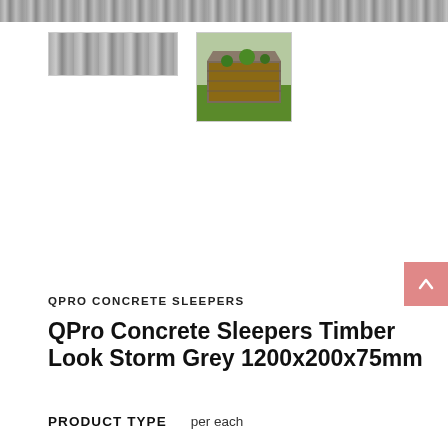[Figure (photo): Top banner showing close-up texture of grey timber-look concrete sleeper surface]
[Figure (photo): Thumbnail 1: grey timber-look concrete sleeper close-up texture]
[Figure (photo): Thumbnail 2: raised garden bed constructed with QPro concrete sleepers filled with mulch and plants on grass]
QPRO CONCRETE SLEEPERS
QPro Concrete Sleepers Timber Look Storm Grey 1200x200x75mm
PRODUCT TYPE   per each